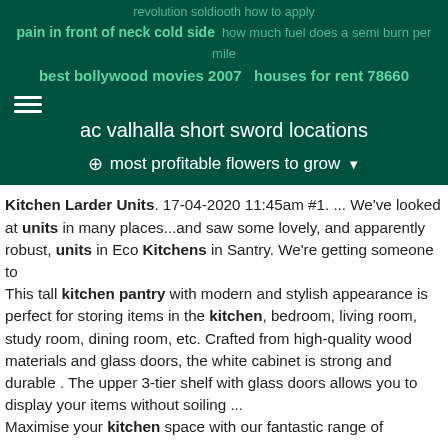revolution soldiooth how to apply
pain in front of neck cold side
how much fuel does a semi burn per mile
best bollywood movies 2007   houses for rent 78660
ac valhalla short sword locations
⊕  most profitable flowers to grow ▼
Kitchen Larder Units. 17-04-2020 11:45am #1. ... We've looked at units in many places...and saw some lovely, and apparently robust, units in Eco Kitchens in Santry. We're getting someone to
This tall kitchen pantry with modern and stylish appearance is perfect for storing items in the kitchen, bedroom, living room, study room, dining room, etc. Crafted from high-quality wood materials and glass doors, the white cabinet is strong and durable . The upper 3-tier shelf with glass doors allows you to display your items without soiling ...
Maximise your kitchen space with our fantastic range of